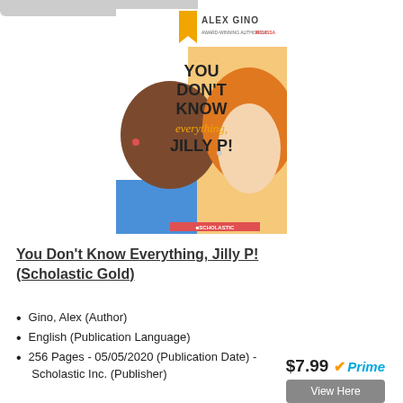[Figure (illustration): Book cover for 'You Don't Know Everything, Jilly P!' by Alex Gino, published by Scholastic. Shows two children facing away — one with dark skin and hair on the left, one with orange/red hair on the right. Bold title text in the center.]
You Don't Know Everything, Jilly P! (Scholastic Gold)
Gino, Alex (Author)
English (Publication Language)
256 Pages - 05/05/2020 (Publication Date) - Scholastic Inc. (Publisher)
$7.99 Prime
View Here